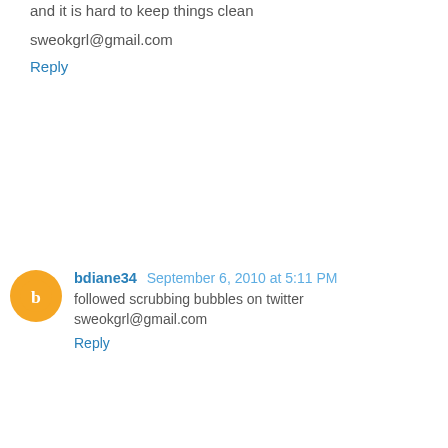and it is hard to keep things clean

sweokgrl@gmail.com
Reply
bdiane34 September 6, 2010 at 5:11 PM
followed scrubbing bubbles on twitter
sweokgrl@gmail.com
Reply
bdiane34 September 6, 2010 at 5:12 PM
subscribed to blog via email
sweokgrl@gmail.com
Reply
bdiane34 September 6, 2010 at 5:12 PM
followed carogonza on twitter